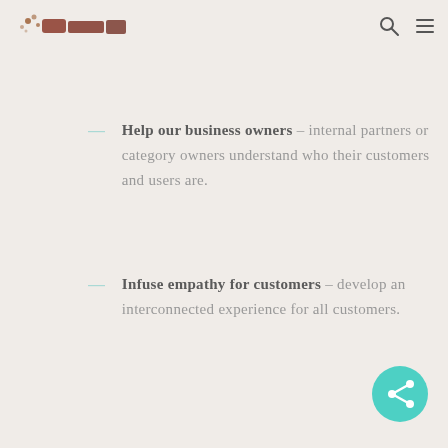head – address the problem, reveal completely new ways of framing the challenge.
Help our business owners – internal partners or category owners understand who their customers and users are.
Infuse empathy for customers – develop an interconnected experience for all customers.